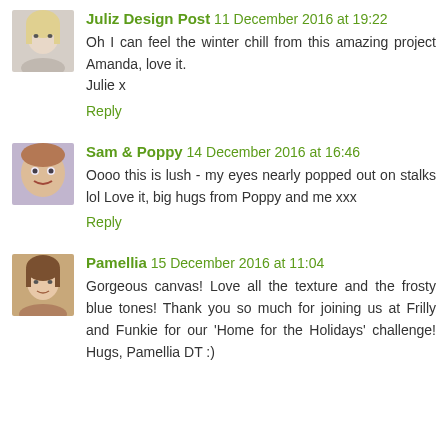[Figure (photo): Avatar of Juliz Design Post — blonde woman]
Juliz Design Post 11 December 2016 at 19:22
Oh I can feel the winter chill from this amazing project Amanda, love it.
Julie x
Reply
[Figure (photo): Avatar of Sam & Poppy — illustrated character]
Sam & Poppy 14 December 2016 at 16:46
Oooo this is lush - my eyes nearly popped out on stalks lol Love it, big hugs from Poppy and me xxx
Reply
[Figure (photo): Avatar of Pamellia — woman with brown hair]
Pamellia 15 December 2016 at 11:04
Gorgeous canvas! Love all the texture and the frosty blue tones! Thank you so much for joining us at Frilly and Funkie for our 'Home for the Holidays' challenge! Hugs, Pamellia DT :)